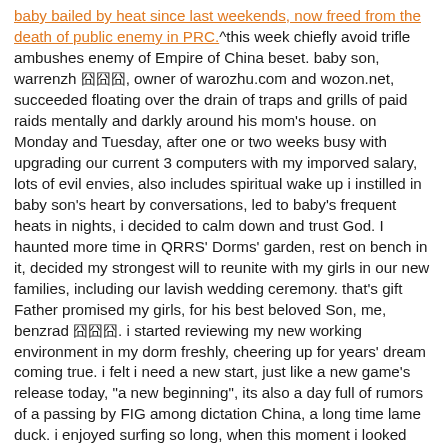baby bailed by heat since last weekends, now freed from the death of public enemy in PRC.^this week chiefly avoid trifle ambushes enemy of Empire of China beset. baby son, warrenzh 本位, owner of warozhu.com and wozon.net, succeeded floating over the drain of traps and grills of paid raids mentally and darkly around his mom's house. on Monday and Tuesday, after one or two weeks busy with upgrading our current 3 computers with my imporved salary, lots of evil envies, also includes spiritual wake up i instilled in baby son's heart by conversations, led to baby's frequent heats in nights, i decided to calm down and trust God. I haunted more time in QRRS' Dorms' garden, rest on bench in it, decided my strongest will to reunite with my girls in our new families, including our lavish wedding ceremony. that's gift Father promised my girls, for his best beloved Son, me, benzrad 本位. i started reviewing my new working environment in my dorm freshly, cheering up for years' dream coming true. i felt i need a new start, just like a new game's release today, "a new beginning", its also a day full of rumors of a passing by FIG among dictation China, a long time lame duck. i enjoyed surfing so long, when this moment i looked outside of window, an drizzled anticipated by local weather forecast, then...